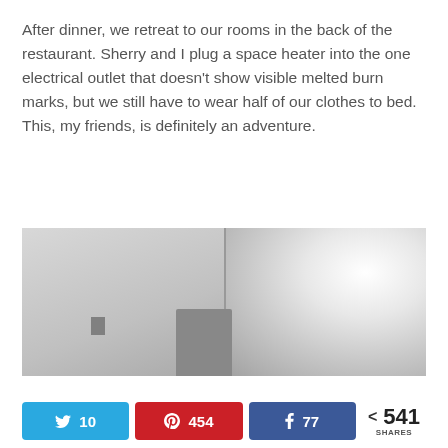After dinner, we retreat to our rooms in the back of the restaurant. Sherry and I plug a space heater into the one electrical outlet that doesn't show visible melted burn marks, but we still have to wear half of our clothes to bed. This, my friends, is definitely an adventure.
[Figure (photo): Indoor photo showing a person (likely a woman with glasses) seated at the bottom center, against a divided gray wall background with a bright light source on the upper right side. A wall bracket or outlet is visible on the left wall.]
Twitter 10 | Pinterest 454 | Facebook 77 | < 541 SHARES